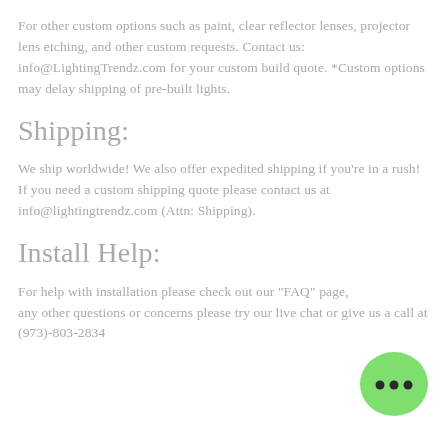For other custom options such as paint, clear reflector lenses, projector lens etching, and other custom requests. Contact us: info@LightingTrendz.com for your custom build quote. *Custom options may delay shipping of pre-built lights.
Shipping:
We ship worldwide! We also offer expedited shipping if you're in a rush! If you need a custom shipping quote please contact us at info@lightingtrendz.com (Attn: Shipping).
Install Help:
For help with installation please check out our "FAQ" page, any other questions or concerns please try our live chat or give us a call at (973)-803-2834
[Figure (illustration): Green chat bubble with three dots indicating live chat]